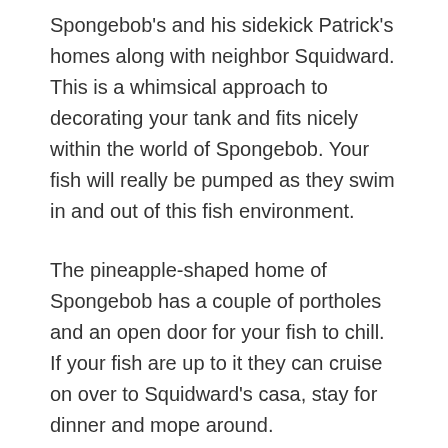Spongebob's and his sidekick Patrick's homes along with neighbor Squidward. This is a whimsical approach to decorating your tank and fits nicely within the world of Spongebob. Your fish will really be pumped as they swim in and out of this fish environment.
The pineapple-shaped home of Spongebob has a couple of portholes and an open door for your fish to chill. If your fish are up to it they can cruise on over to Squidward's casa, stay for dinner and mope around.
This is where your creativity comes into play. Having so many Spongebob fish tank decorations to choose from, there is an unlimited amount of Spongebob scenes you can c[scroll button]e.  From an undersea Spongebob neighborhood to a recreation of the Krusty Crab your fish will love swimming